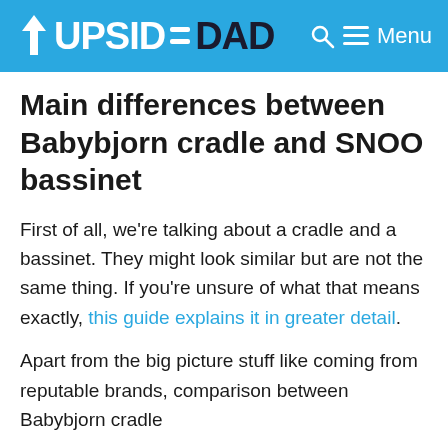UPSIDEDAD Menu
Main differences between Babybjorn cradle and SNOO bassinet
First of all, we're talking about a cradle and a bassinet. They might look similar but are not the same thing. If you're unsure of what that means exactly, this guide explains it in greater detail.
Apart from the big picture stuff like coming from reputable brands, comparison between Babybjorn cradle